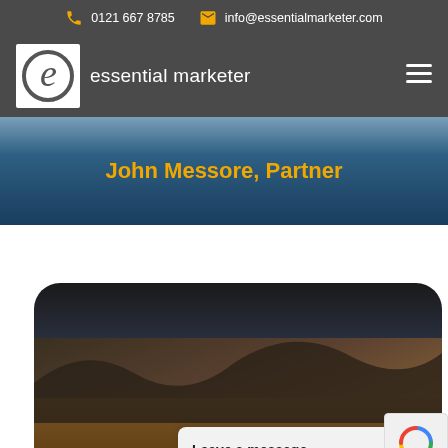0121 667 8785  info@essentialmarketer.com
[Figure (logo): Essential Marketer logo - white letter e in a circle on white background, with text 'essential marketer' in white]
John Messore, Partner
[Figure (photo): Dark landscape photo with rocky/sandy terrain, displayed in a rounded-top container]
Leave a message